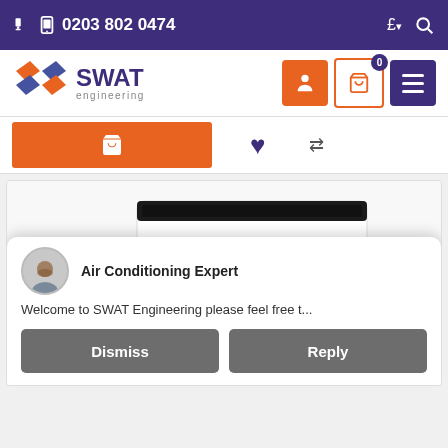📱 0203 802 0474 | £ ▾ 🔍
[Figure (logo): SWAT Engineering logo with orange and blue diamond shape icon and purple SWAT text with grey 'engineering' subtitle]
[Figure (screenshot): Product photo of Mitsubishi ceiling suspended air conditioning unit in white, with smaller images of outdoor unit, controller and display panel below]
Air Conditioning Expert
Welcome to SWAT Engineering please feel free t...
Dismiss
Reply